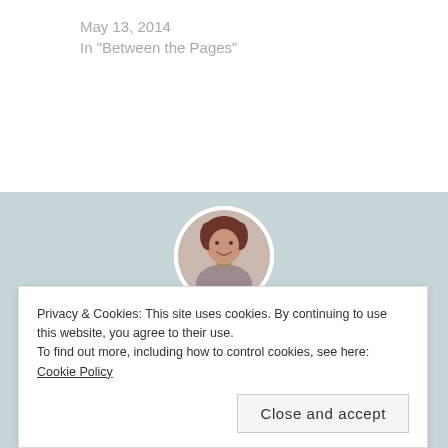May 13, 2014
In "Between the Pages"
[Figure (photo): Circular portrait photo of Juanita Kees, a woman with short reddish-brown hair, smiling, wearing a necklace.]
Author: Juanita Kees
Award Winning Author; RWA RUBY Nominee; Diploma in Proofreading, Editing and Publishing;
Privacy & Cookies: This site uses cookies. By continuing to use this website, you agree to their use.
To find out more, including how to control cookies, see here: Cookie Policy